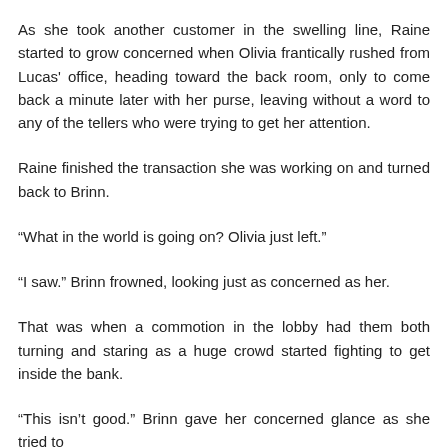As she took another customer in the swelling line, Raine started to grow concerned when Olivia frantically rushed from Lucas' office, heading toward the back room, only to come back a minute later with her purse, leaving without a word to any of the tellers who were trying to get her attention.
Raine finished the transaction she was working on and turned back to Brinn.
“What in the world is going on? Olivia just left.”
“I saw.” Brinn frowned, looking just as concerned as her.
That was when a commotion in the lobby had them both turning and staring as a huge crowd started fighting to get inside the bank.
“This isn’t good.” Brinn gave her concerned glance as she tried to